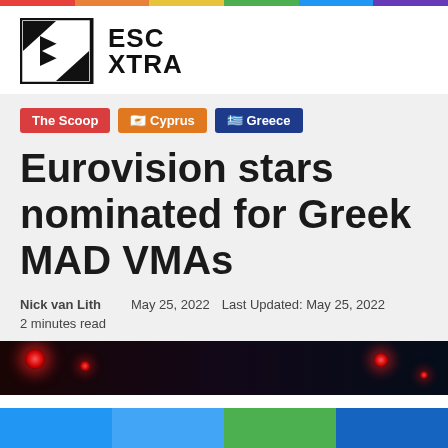[Figure (logo): ESC XTRA logo with black X icon made of triangles]
The Scoop
🇨🇾 Cyprus
🇬🇷 Greece
Eurovision stars nominated for Greek MAD VMAs
Nick van Lith   May 25, 2022   Last Updated: May 25, 2022
2 minutes read
[Figure (photo): Dark photo with red bokeh lights, appears to be a concert or performance setting]